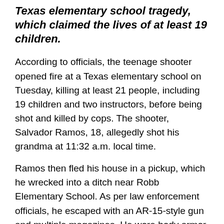Texas elementary school tragedy, which claimed the lives of at least 19 children.
According to officials, the teenage shooter opened fire at a Texas elementary school on Tuesday, killing at least 21 people, including 19 children and two instructors, before being shot and killed by cops. The shooter, Salvador Ramos, 18, allegedly shot his grandma at 11:32 a.m. local time.
Ramos then fled his house in a pickup, which he wrecked into a ditch near Robb Elementary School. As per law enforcement officials, he escaped with an AR-15-style gun and multiple magazines. He wore body armor as well. Authorities informed ABC News that the